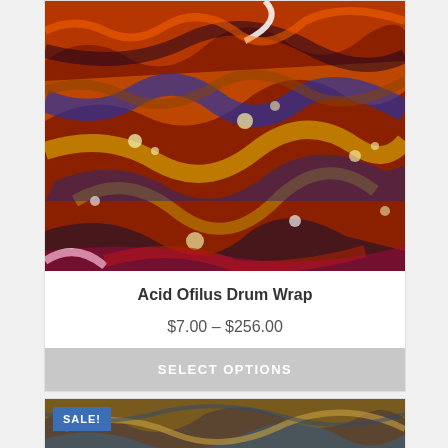[Figure (photo): Colorful swirling acid/oil marbled abstract image with orange, red, blue, yellow, white and dark swirling patterns with bubble dots]
Acid Ofilus Drum Wrap
$7.00 – $256.00
SELECT OPTIONS
[Figure (photo): Partial view of a marbled/feathered pattern texture in brown, blue and gold tones, with a blue SALE! badge in the top-left corner]